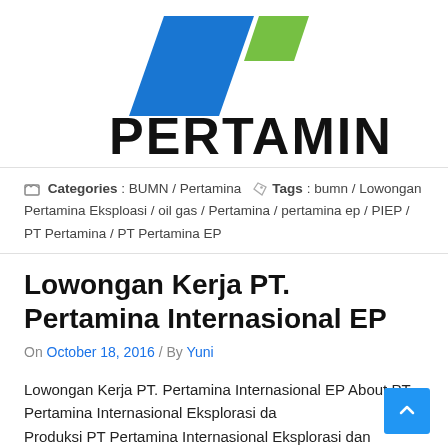[Figure (logo): Pertamina logo with blue and green diagonal shapes above bold black PERTAMINA text]
Categories : BUMN / Pertamina   Tags : bumn / Lowongan Pertamina Eksploasi / oil gas / Pertamina / pertamina ep / PIEP / PT Pertamina / PT Pertamina EP
Lowongan Kerja PT. Pertamina Internasional EP
On October 18, 2016 / By Yuni
Lowongan Kerja PT. Pertamina Internasional EP About PT Pertamina Internasional Eksplorasi dan Produksi PT Pertamina Internasional Eksplorasi dan